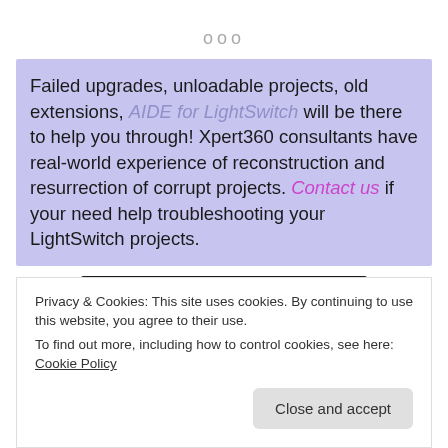ooo
Failed upgrades, unloadable projects, old extensions, AIDE for LightSwitch will be there to help you through! Xpert360 consultants have real-world experience of reconstruction and resurrection of corrupt projects. Contact us if your need help troubleshooting your LightSwitch projects.
[Figure (screenshot): Dark banner with 'Get started for free' button]
Privacy & Cookies: This site uses cookies. By continuing to use this website, you agree to their use.
To find out more, including how to control cookies, see here: Cookie Policy
Close and accept